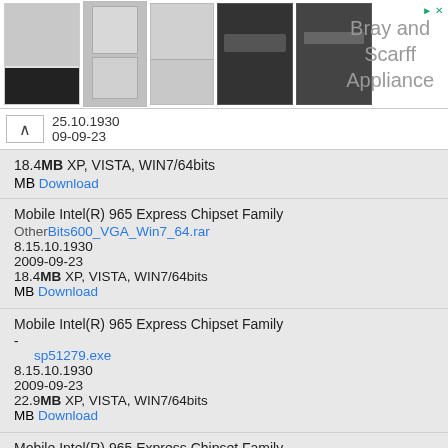[Figure (screenshot): Advertisement banner with appliance images (dishwashers, refrigerators) and text 'Bray and Scarff Appliance']
25.10.1930
09-09-23
18.4MB XP, VISTA, WIN7/64bits
MB Download
Mobile Intel(R) 965 Express Chipset Family
Other Bits600_VGA_Win7_64.rar
8.15.10.1930
2009-09-23
18.4MB XP, VISTA, WIN7/64bits
MB Download
Mobile Intel(R) 965 Express Chipset Family
-
sp51279.exe
8.15.10.1930
2009-09-23
22.9MB XP, VISTA, WIN7/64bits
MB Download
Mobile Intel(R) 965 Express Chipset Family